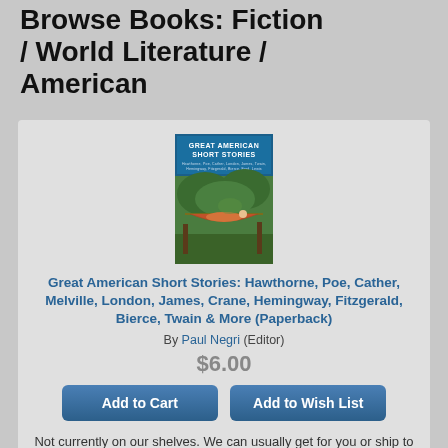Browse Books: Fiction / World Literature / American
[Figure (illustration): Book cover of 'Great American Short Stories' published by Dover Thrift Editions, showing a person resting in a hammock in a lush green outdoor scene, with a blue banner at top reading GREAT AMERICAN SHORT STORIES]
Great American Short Stories: Hawthorne, Poe, Cather, Melville, London, James, Crane, Hemingway, Fitzgerald, Bierce, Twain & More (Paperback)
By Paul Negri (Editor)
$6.00
Not currently on our shelves. We can usually get for you or ship to you in 1-5 days.